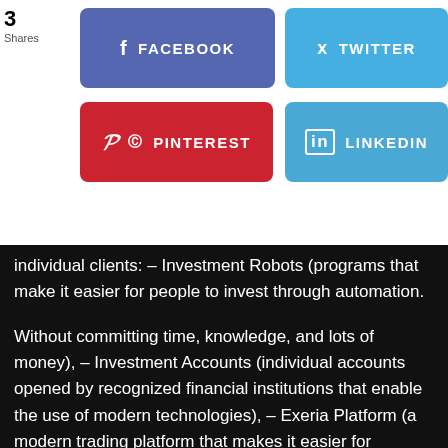3 Shares
[Figure (screenshot): Facebook share button (blue/purple rounded rectangle with f icon and FACEBOOK label)]
[Figure (screenshot): Twitter share button (light blue rounded rectangle with bird icon and TWITTER label)]
[Figure (screenshot): Pinterest share button (red rounded rectangle with P icon and PINTEREST label)]
[Figure (screenshot): LinkedIn share button (light blue rounded rectangle with 'in' icon and LINKEDIN label)]
individual clients: – Investment Robots (programs that make it easier for people to invest through automation.
Without committing time, knowledge, and lots of money), – Investment Accounts (individual accounts opened by recognized financial institutions that enable the use of modern technologies), – Exeria Platform (a modern trading platform that makes it easier for investors to analyze and make automatic transactions), – Exeria Network (a social